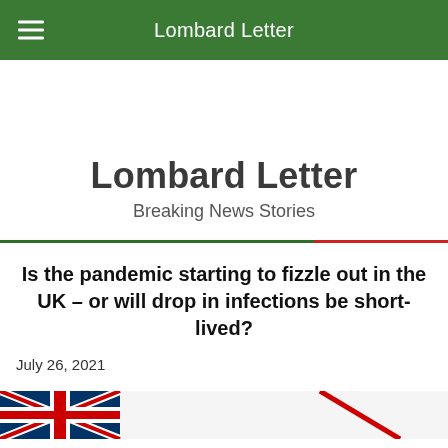Lombard Letter
Lombard Letter
Breaking News Stories
Is the pandemic starting to fizzle out in the UK – or will drop in infections be short-lived?
July 26, 2021